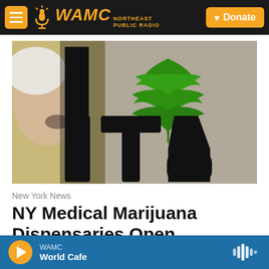WAMC Northeast Public Radio — Donate
[Figure (photo): Photo showing a person's face partially visible on left side, and a large black sign/logo with a green cannabis leaf at top and black letters 'I T V' or similar stylized text on a gray background.]
New York News
NY Medical Marijuana Dispensaries Open Thursday
WAMC — World Cafe (player bar with play button and audio wave icon)